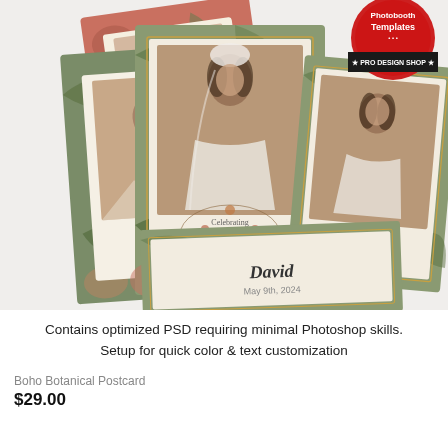[Figure (photo): Product mockup showing Boho Botanical Postcard Photoshop templates — multiple overlapping postcard designs featuring a bride with floral botanical backgrounds and wedding names Emma & David, with a 'Photobooth Templates Pro Design Shop' logo badge in the top right corner.]
Contains optimized PSD requiring minimal Photoshop skills. Setup for quick color & text customization
Boho Botanical Postcard
$29.00